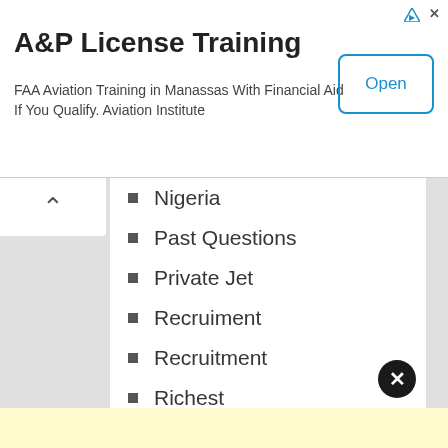[Figure (screenshot): Advertisement banner for A&P License Training with Open button]
A&P License Training
FAA Aviation Training in Manassas With Financial Aid If You Qualify. Aviation Institute
Nigeria
Past Questions
Private Jet
Recruiment
Recruitment
Richest
Tech
Travels
Uncategorized
Universities
World